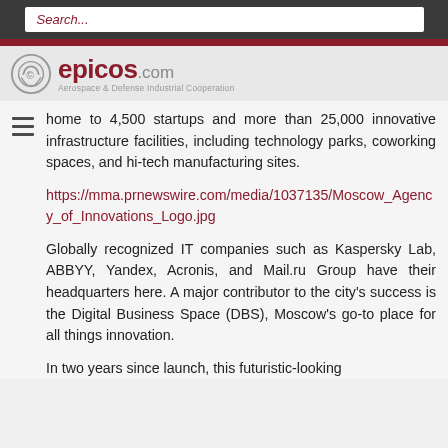Search...
[Figure (logo): epicos.com logo with circular icon and tagline Aerospace & Defense Industrial Cooperation]
home to 4,500 startups and more than 25,000 innovative infrastructure facilities, including technology parks, coworking spaces, and hi-tech manufacturing sites.
https://mma.prnewswire.com/media/1037135/Moscow_Agency_of_Innovations_Logo.jpg
Globally recognized IT companies such as Kaspersky Lab, ABBYY, Yandex, Acronis, and Mail.ru Group have their headquarters here. A major contributor to the city's success is the Digital Business Space (DBS), Moscow's go-to place for all things innovation.
In two years since launch, this futuristic-looking